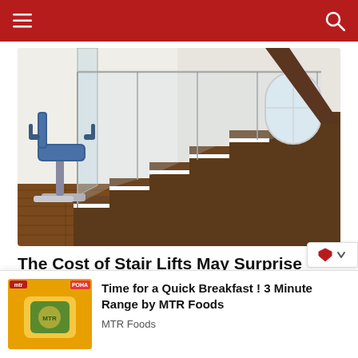Navigation bar with hamburger menu and search icon
[Figure (photo): A modern staircase with glass railing and dark wood steps, featuring a blue stair lift chair attached to the left side. Hardwood floor in the foreground, white walls, and a window in the background.]
The Cost of Stair Lifts May Surprise You
Search Ads
[Figure (photo): MTR Foods advertisement thumbnail showing a yellow/orange background with a food product bag (Poha), with MTR and POHA labels. Advertisement for '3 Minute Range'.]
Time for a Quick Breakfast ! 3 Minute Range by MTR Foods
MTR Foods